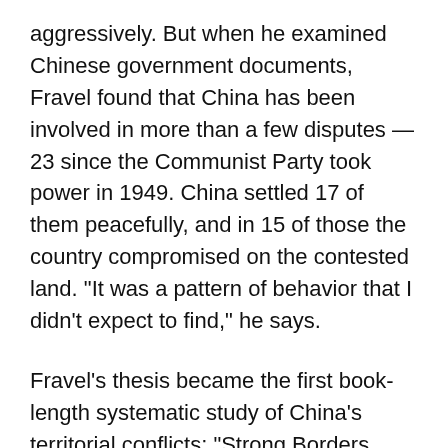aggressively. But when he examined Chinese government documents, Fravel found that China has been involved in more than a few disputes — 23 since the Communist Party took power in 1949. China settled 17 of them peacefully, and in 15 of those the country compromised on the contested land. "It was a pattern of behavior that I didn't expect to find," he says.
Fravel's thesis became the first book-length systematic study of China's territorial conflicts: "Strong Borders, Secure Nation: Cooperation and Conflict in China's Territorial Disputes" (Princeton University Press, 2008). "By looking at all of China's disputes and how they varied over time, you can actually bring some scientific rigor to bear on the